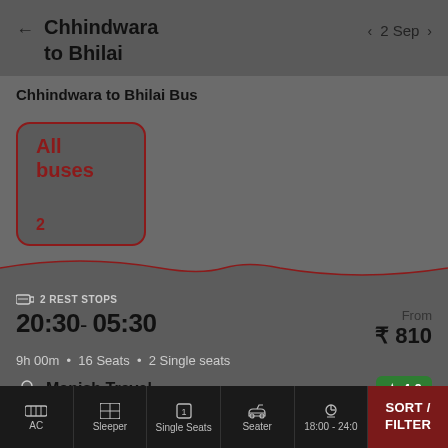Chhindwara to Bhilai | 2 Sep
Chhindwara to Bhilai Bus
All buses
2
2 REST STOPS
20:30 - 05:30
From ₹ 810
9h 00m • 16 Seats • 2 Single seats
Manish Travel
AC Sleeper (2+1)
★ 4.0
24
AC | Sleeper | Single Seats | Seater | 18:00 - 24:00 | SORT / FILTER